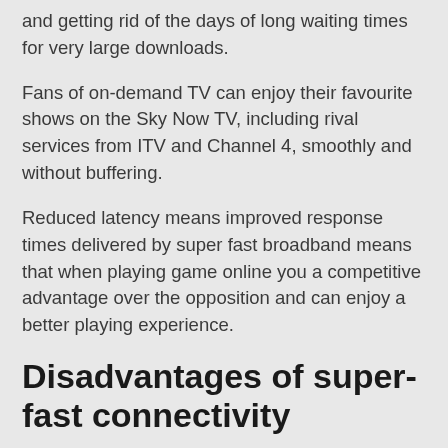and getting rid of the days of long waiting times for very large downloads.
Fans of on-demand TV can enjoy their favourite shows on the Sky Now TV, including rival services from ITV and Channel 4, smoothly and without buffering.
Reduced latency means improved response times delivered by super fast broadband means that when playing game online you a competitive advantage over the opposition and can enjoy a better playing experience.
Disadvantages of super-fast connectivity
Some d...